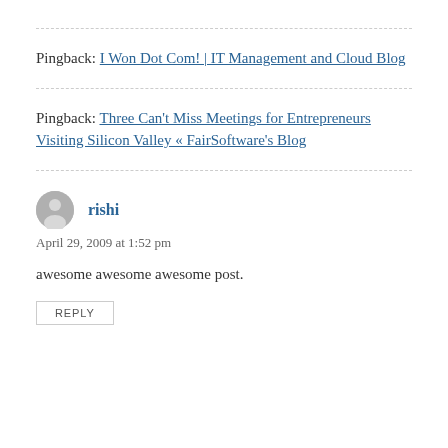Pingback: I Won Dot Com! | IT Management and Cloud Blog
Pingback: Three Can't Miss Meetings for Entrepreneurs Visiting Silicon Valley « FairSoftware's Blog
rishi
April 29, 2009 at 1:52 pm
awesome awesome awesome post.
REPLY